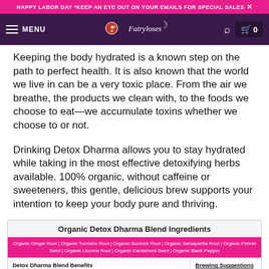HAPPY LABOR DAY *KEEP AN EYE OUT ON YOUR EMAILS FOR SPECIAL SALES ×
[Figure (screenshot): Website navigation bar with dark purple background, hamburger menu icon, MENU text, Fairylosso logo with moon, search icon, and cart icon showing 0 items]
Keeping the body hydrated is a known step on the path to perfect health. It is also known that the world we live in can be a very toxic place. From the air we breathe, the products we clean with, to the foods we choose to eat—we accumulate toxins whether we choose to or not.
Drinking Detox Dharma allows you to stay hydrated while taking in the most effective detoxifying herbs available. 100% organic, without caffeine or sweeteners, this gentle, delicious brew supports your intention to keep your body pure and thriving.
| Organic Detox Dharma Blend Ingredients |
| --- |
| Organic Ginger Root | Organic Turmeric Root | Organic Burdock Root | Organic Sarsaparilla Root | Organic Fennel Seed | Organic Licorice Root | Organic Cardamom Seed | Organic Black Pepper |
| Detox Dharma Blend Benefits: ✓ Antioxidant, ✓ Flushes the system, ✓ Adaptogenic, ✓ Antioxidant rich; ✓ Non GMO, ✓ No Preservatives, ✓ No Artificial or Natural Flavors, ✓ No Artificial Sweeteners; Brewing Suggestions: For a proper cup of tea..., Recommended temperature: 205°, Cover and steep to taste. |